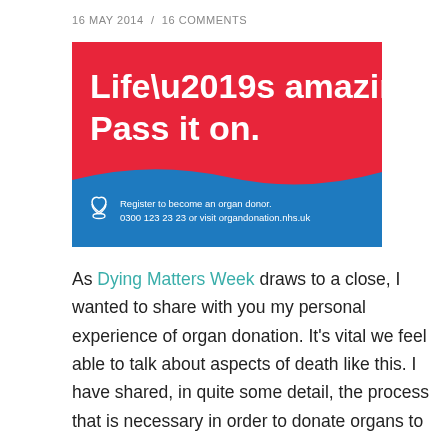16 MAY 2014  /  16 COMMENTS
[Figure (illustration): NHS Organ Donation campaign poster. Red background with white bold text 'Life’s amazing. Pass it on.' A wave divides the red and blue sections. Blue section has a heart-hands logo and text: 'Register to become an organ donor. 0300 123 23 23 or visit organdonation.nhs.uk']
As Dying Matters Week draws to a close, I wanted to share with you my personal experience of organ donation. It’s vital we feel able to talk about aspects of death like this. I have shared, in quite some detail, the process that is necessary in order to donate organs to